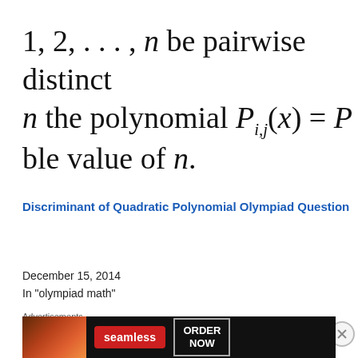1, 2, ..., n be pairwise distinct n the polynomial P_{i,j}(x) = P... ble value of n.
Discriminant of Quadratic Polynomial Olympiad Question
December 15, 2014
In "olympiad math"
[Figure (photo): Book advertisement banner: 'Fifty Lectures for American Mathematics' with blue background and light green text]
Advertisements
[Figure (photo): Seamless food delivery advertisement with pizza image, Seamless logo, and ORDER NOW button]